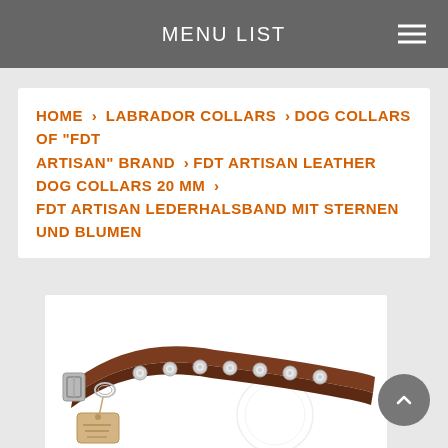MENU LIST
HOME > LABRADOR COLLARS > DOG COLLARS OF "FDT ARTISAN" BRAND > FDT ARTISAN LEATHER DOG COLLARS 20 MM > FDT ARTISAN LEDERHALSBAND MIT STERNEN UND BLUMEN
[Figure (photo): Brown leather dog collar with silver star and flower studs, shown with a tag. The collar is curved showing its full length, with a metal buckle.]